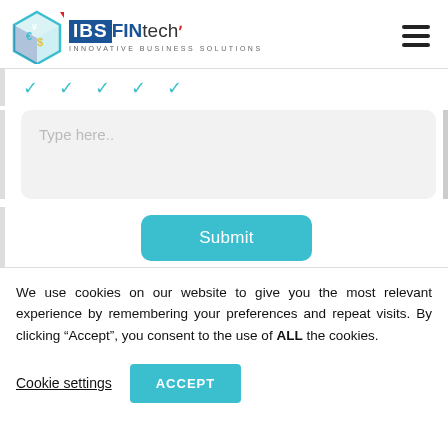[Figure (logo): IBS FINtech logo with cube icon and tagline INNOVATIVE BUSINESS SOLUTIONS, plus hamburger menu icon on the right]
[Figure (other): Star/rating icons row in teal color]
Type here..
Submit
We use cookies on our website to give you the most relevant experience by remembering your preferences and repeat visits. By clicking “Accept”, you consent to the use of ALL the cookies.
Cookie settings
ACCEPT